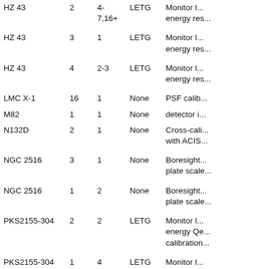| Source | Obs | CCD | Grating | Purpose |
| --- | --- | --- | --- | --- |
| HZ 43 | 2 | 4-7,16+ | LETG | Monitor l... energy res... |
| HZ 43 | 3 | 1 | LETG | Monitor l... energy res... |
| HZ 43 | 4 | 2-3 | LETG | Monitor l... energy res... |
| LMC X-1 | 16 | 1 | None | PSF calib... |
| M82 | 1 | 1 | None | detector i... |
| N132D | 2 | 1 | None | Cross-cali... with ACIS... |
| NGC 2516 | 3 | 1 | None | Boresight... plate scale... |
| NGC 2516 | 1 | 2 | None | Boresight... plate scale... |
| PKS2155-304 | 2 | 2 | LETG | Monitor l... energy Qe... calibration... |
| PKS2155-304 | 1 | 4 | LETG | Monitor l... energy Qe... calibration... |